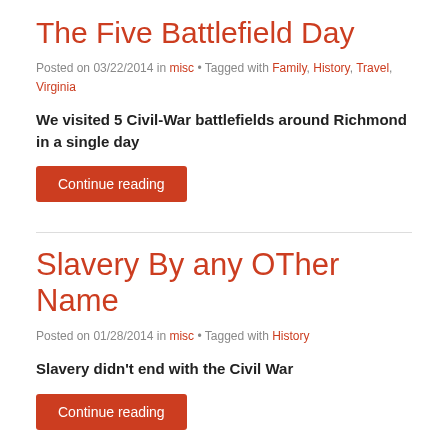The Five Battlefield Day
Posted on 03/22/2014 in misc • Tagged with Family, History, Travel, Virginia
We visited 5 Civil-War battlefields around Richmond in a single day
Continue reading
Slavery By any OTher Name
Posted on 01/28/2014 in misc • Tagged with History
Slavery didn't end with the Civil War
Continue reading